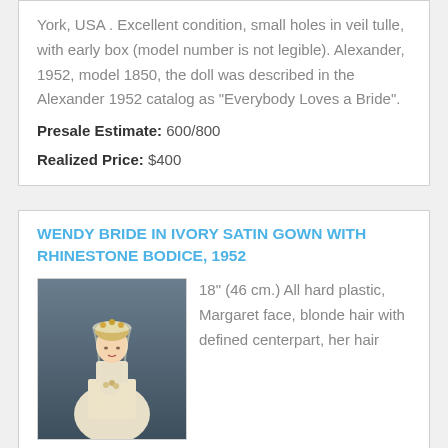York, USA . Excellent condition, small holes in veil tulle, with early box (model number is not legible). Alexander, 1952, model 1850, the doll was described in the Alexander 1952 catalog as "Everybody Loves a Bride".
Presale Estimate: 600/800
Realized Price: $400
WENDY BRIDE IN IVORY SATIN GOWN WITH RHINESTONE BODICE, 1952
[Figure (photo): Photo of a doll bride in ivory satin gown with veil and floral headpiece, blonde hair with defined centerpart]
18" (46 cm.) All hard plastic, Margaret face, blonde hair with defined centerpart, her hair